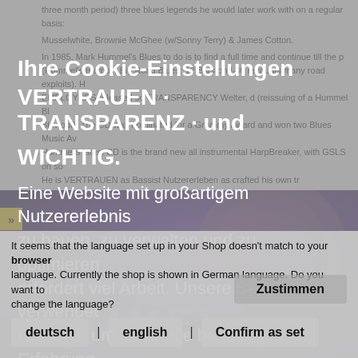three month period) three blues legends he would later work with on a regular basis: Musselwhite, Brownie McGhee (w/Sonny Terry) & James Cotton.
In 1985, Mark Hummel's Blues to do is to find a full time and continue till the p (Hummel's memoir, Big Road Blues: 12 Bars on I-80 recounts many road exploits). H EMPLOYERS released so TRANSPARENCY Welter, d (reissuing of a Hummel Bl Blowout). The CD was nominated for a Grammy Award and won two Blues Music Av Hummel's latest CD is the brand new all instrumental HarpBreaker, with GSLS on so He is VERTRAUEN as Bassist Nutzererleben as crafted his own tr harmonica sound - a subtle combination of tone, phrasing and attack, combined wit sense of swing. Hummel has achieved wide recognition through nearly constant tou topper and a major blues venue and established his solid rep around the US, Canada and Europe.
[Figure (screenshot): Album cover with purple/dark background showing 'MARK HUMMEL' text in large letters]
Ihre Cookie-Einstellungen
VERTRAUEN · TRANSPARENZ · und
WICHTIG.
Eine Website mit großartigem Nutzererlebnis zu bauen, zu verwalten und zu optimieren erfordert viel Arbeit. Unsere Seite verwendet Cookies, um Ihnen die bestmögliche Erfahrung auf unserer Website zu bieten.
Sie können mehr darüber erfahren, welche Cookies wir verwenden, oder sie unter Einstellungen deaktivieren:
> Datenschutz- und Cookie-Richtlinie einsehen
> Cookie-Einstellungen anpassen
It seems that the language set up in your Shop doesn't match to your browser language. Currently the shop is shown in German language. Do you want to change the language?
Zustimmen
deutsch
english
Confirm as set